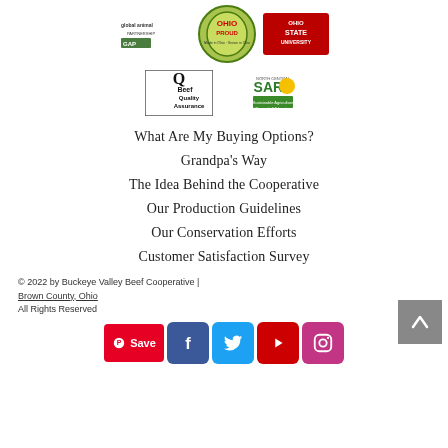[Figure (logo): Global Animal Partnership logo]
[Figure (logo): Ohio Proud logo]
[Figure (logo): Ohio State University logo]
[Figure (logo): Beef Quality Assurance logo]
[Figure (logo): North Central SARE Sustainable Agriculture Research & Education logo]
What Are My Buying Options?
Grandpa’s Way
The Idea Behind the Cooperative
Our Production Guidelines
Our Conservation Efforts
Customer Satisfaction Survey
© 2022 by Buckeye Valley Beef Cooperative | Brown County, Ohio All Rights Reserved